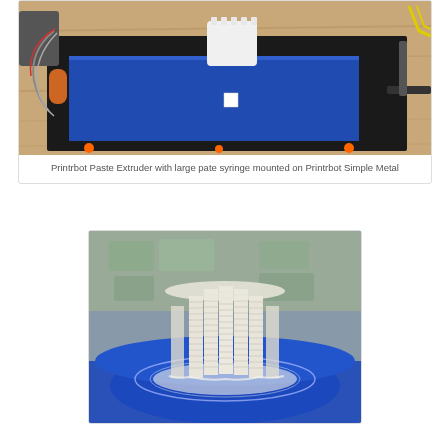[Figure (photo): Printrbot Paste Extruder with large paste syringe mounted on Printrbot Simple Metal, showing the printer mechanism on a wooden surface with blue tape bed and wiring]
Printrbot Paste Extruder with large pate syringe mounted on Printrbot Simple Metal
[Figure (photo): 3D printed ceramic or paste object showing layered stacked disc/ring structure on a blue surface, viewed from front]